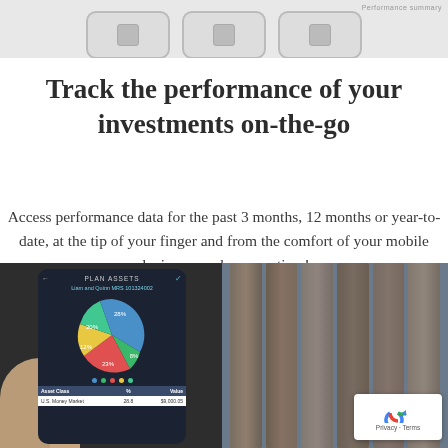[Figure (screenshot): Top portion showing phone/tablet interface buttons — three rounded rectangular buttons with square icons visible against light gray background]
Track the performance of your investments on-the-go
Access performance data for the past 3 months, 12 months or year-to-date, at the tip of your finger and from the comfort of your mobile device, anywhere, anytime!
[Figure (screenshot): Bottom portion showing two images: left side shows a hand holding a smartphone displaying a pie chart of PLAN ASSETS for Liam and Quinn MRS 101324002, with colored segments and a table showing Asset Class, %, and Value columns with U.S. Money Market entry visible. Right side shows a blurred background of wooden/log textures with a reCAPTCHA badge in the bottom right corner showing Privacy and Terms links.]